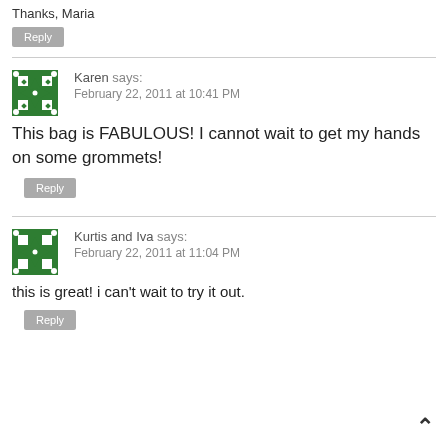Thanks, Maria
Reply
Karen says: February 22, 2011 at 10:41 PM
This bag is FABULOUS! I cannot wait to get my hands on some grommets!
Reply
Kurtis and Iva says: February 22, 2011 at 11:04 PM
this is great! i can't wait to try it out.
Reply